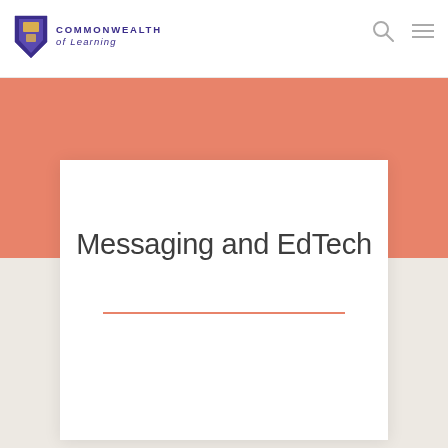Commonwealth of Learning
Messaging and EdTech